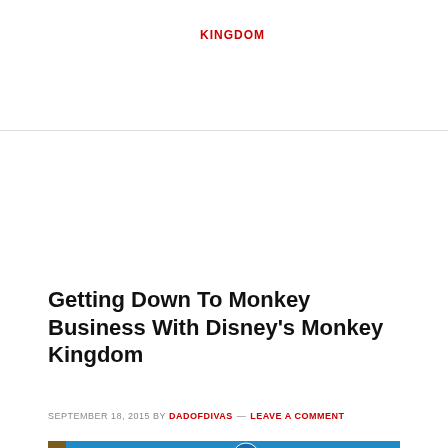KINGDOM
Getting Down To Monkey Business With Disney's Monkey Kingdom
SEPTEMBER 18, 2015 BY DADOFDIVAS — LEAVE A COMMENT
[Figure (photo): Disneynature Monkey Kingdom Blu-ray + DVD + Digital HD product box featuring a close-up of a macaque monkey on a golden/brown background with Disneynature branding.]